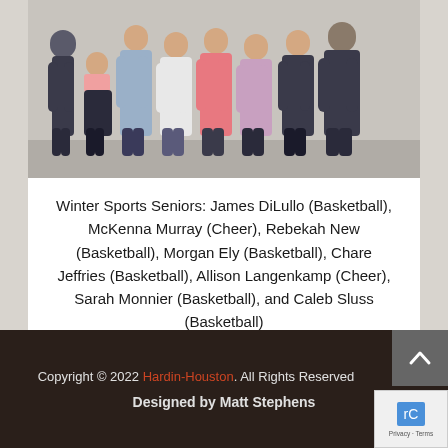[Figure (photo): Group photo of Winter Sports Seniors — eight students standing in a row against a light-colored wall, wearing casual and athletic attire.]
Winter Sports Seniors: James DiLullo (Basketball), McKenna Murray (Cheer), Rebekah New (Basketball), Morgan Ely (Basketball), Chare Jeffries (Basketball), Allison Langenkamp (Cheer), Sarah Monnier (Basketball), and Caleb Sluss (Basketball)
Copyright © 2022 Hardin-Houston. All Rights Reserved. Designed by Matt Stephens